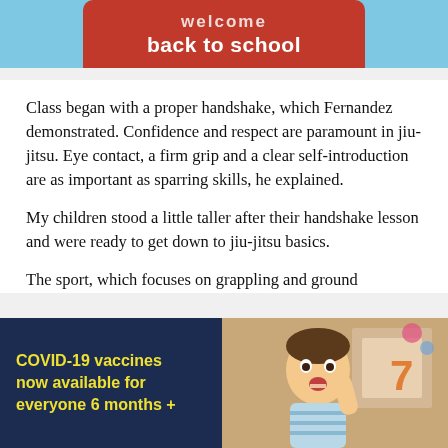[Figure (illustration): Red apple-shaped banner on light blue background with white bold text reading 'welcome back to school']
Class began with a proper handshake, which Fernandez demonstrated. Confidence and respect are paramount in jiu-jitsu. Eye contact, a firm grip and a clear self-introduction are as important as sparring skills, he explained.
My children stood a little taller after their handshake lesson and were ready to get down to jiu-jitsu basics.
The sport, which focuses on grappling and ground
[Figure (illustration): Dark navy blue advertisement box with yellow bold text reading 'COVID-19 vaccines now available for everyone 6 months +']
[Figure (photo): Photo of a young boy with his hand raised and mouth open in surprise, with the number 7 visible in the background]